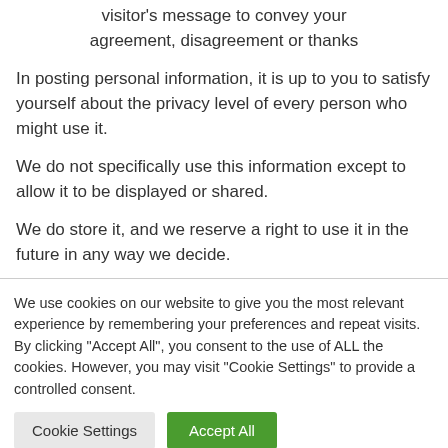visitor's message to convey your agreement, disagreement or thanks
In posting personal information, it is up to you to satisfy yourself about the privacy level of every person who might use it.
We do not specifically use this information except to allow it to be displayed or shared.
We do store it, and we reserve a right to use it in the future in any way we decide.
We use cookies on our website to give you the most relevant experience by remembering your preferences and repeat visits. By clicking "Accept All", you consent to the use of ALL the cookies. However, you may visit "Cookie Settings" to provide a controlled consent.